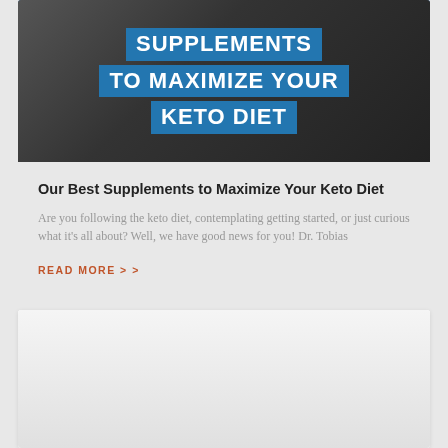[Figure (photo): Hero image showing a person running up stairs with text overlay: SUPPLEMENTS TO MAXIMIZE YOUR KETO DIET on blue banner backgrounds]
Our Best Supplements to Maximize Your Keto Diet
Are you following the keto diet, contemplating getting started, or just curious what it's all about? Well, we have good news for you! Dr. Tobias
READ MORE > >
[Figure (photo): Second article card, partially visible, showing a light grey placeholder image area]